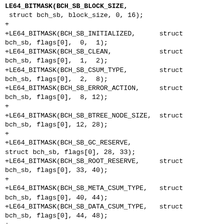LE64_BITMASK(BCH_SB_BLOCK_SIZE,
 struct bch_sb, block_size, 0, 16);
+
+LE64_BITMASK(BCH_SB_INITIALIZED,      struct
bch_sb, flags[0],  0,  1);
+LE64_BITMASK(BCH_SB_CLEAN,            struct
bch_sb, flags[0],  1,  2);
+LE64_BITMASK(BCH_SB_CSUM_TYPE,        struct
bch_sb, flags[0],  2,  8);
+LE64_BITMASK(BCH_SB_ERROR_ACTION,     struct
bch_sb, flags[0],  8, 12);
+
+LE64_BITMASK(BCH_SB_BTREE_NODE_SIZE,  struct
bch_sb, flags[0], 12, 28);
+
+LE64_BITMASK(BCH_SB_GC_RESERVE,
struct bch_sb, flags[0], 28, 33);
+LE64_BITMASK(BCH_SB_ROOT_RESERVE,     struct
bch_sb, flags[0], 33, 40);
+
+LE64_BITMASK(BCH_SB_META_CSUM_TYPE,   struct
bch_sb, flags[0], 40, 44);
+LE64_BITMASK(BCH_SB_DATA_CSUM_TYPE,   struct
bch_sb, flags[0], 44, 48);
+
+LE64_BITMASK(BCH_SB_META_REPLICAS_WANT,
struct bch_sb, flags[0], 48, 52);
+LE64_BITMASK(BCH_SB_DATA_REPLICAS_WANT,
struct bch_sb, flags[0], 52, 56);
+
+LE64_BITMASK(BCH_SB_POSIX_ACL,        struct